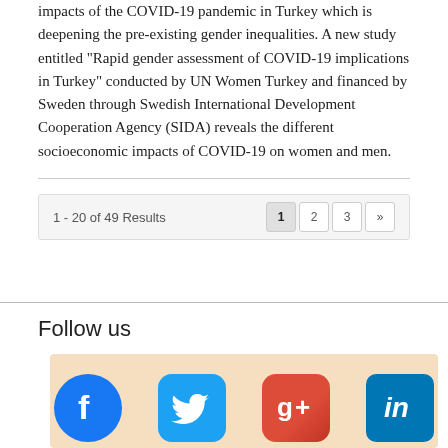impacts of the COVID-19 pandemic in Turkey which is deepening the pre-existing gender inequalities. A new study entitled "Rapid gender assessment of COVID-19 implications in Turkey" conducted by UN Women Turkey and financed by Sweden through Swedish International Development Cooperation Agency (SIDA) reveals the different socioeconomic impacts of COVID-19 on women and men.
1 - 20 of 49 Results
Follow us
[Figure (infographic): Social media icons grid: Facebook, Twitter, Google+, LinkedIn (top row); YouTube, Flickr, Instagram, RSS (bottom row) on a light peach/beige background.]